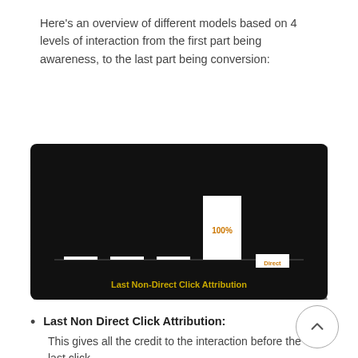Here's an overview of different models based on 4 levels of interaction from the first part being awareness, to the last part being conversion:
[Figure (bar-chart): Bar chart on black background showing Last Non-Direct Click Attribution. Most bars are flat/zero except one tall white bar labeled 100% in orange. The last bar is labeled Direct.]
Last Non Direct Click Attribution: This gives all the credit to the interaction before the last click is the basis for Google Analytics